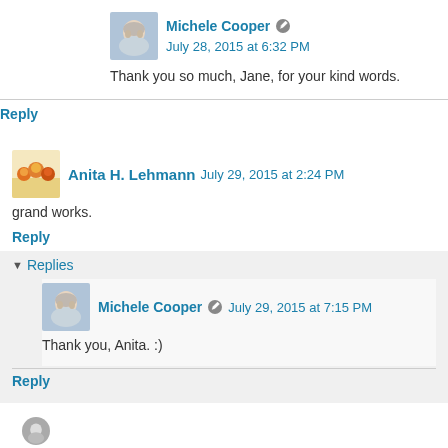Michele Cooper — July 28, 2015 at 6:32 PM
Thank you so much, Jane, for your kind words.
Reply
Anita H. Lehmann — July 29, 2015 at 2:24 PM
grand works.
Reply
Replies
Michele Cooper — July 29, 2015 at 7:15 PM
Thank you, Anita. :)
Reply